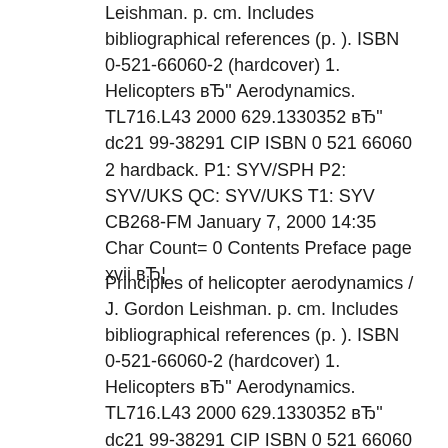Leishman. p. cm. Includes bibliographical references (p. ). ISBN 0-521-66060-2 (hardcover) 1. Helicopters вЂ" Aerodynamics. TL716.L43 2000 629.1330352 вЂ" dc21 99-38291 CIP ISBN 0 521 66060 2 hardback. P1: SYV/SPH P2: SYV/UKS QC: SYV/UKS T1: SYV CB268-FM January 7, 2000 14:35 Char Count= 0 Contents Preface page xvii вЂ¦
Principles of helicopter aerodynamics / J. Gordon Leishman. p. cm. Includes bibliographical references (p. ). ISBN 0-521-66060-2 (hardcover) 1. Helicopters вЂ" Aerodynamics. TL716.L43 2000 629.1330352 вЂ" dc21 99-38291 CIP ISBN 0 521 66060 2 hardback. P1: